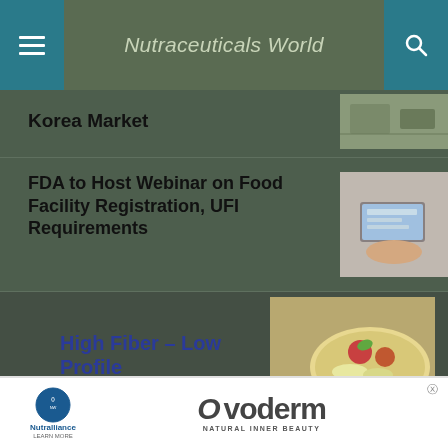Nutraceuticals World
Korea Market
FDA to Host Webinar on Food Facility Registration, UFI Requirements
[Figure (photo): Person writing or working at a desk with a laptop]
High Fiber – Low Profile
[Figure (photo): Food items - appears to be fiber-rich foods on a plate]
Flower Pollen Extract Benefits
[Figure (photo): Small thumbnail image related to flower pollen article]
[Figure (infographic): Ovoderm advertisement banner - Nutralliance Natural Inner Beauty product ad]